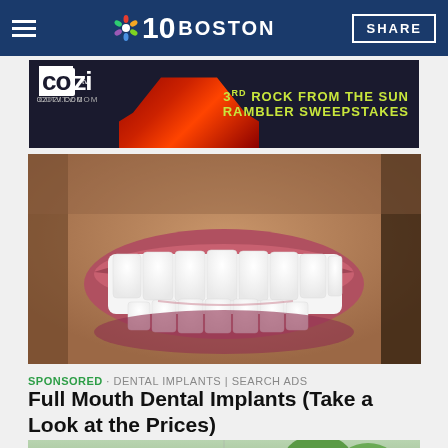NBC 10 BOSTON | SHARE
[Figure (photo): COZI TV advertisement banner: 3rd Rock From The Sun Rambler Sweepstakes - cozitv.com - featuring a red classic car]
[Figure (photo): Close-up photo of a man's smile showing white dental implants/veneers with beard stubble visible]
SPONSORED · DENTAL IMPLANTS | SEARCH ADS
Full Mouth Dental Implants (Take a Look at the Prices)
[Figure (photo): Outdoor scene with roof, bare trees, and budding green trees in spring]